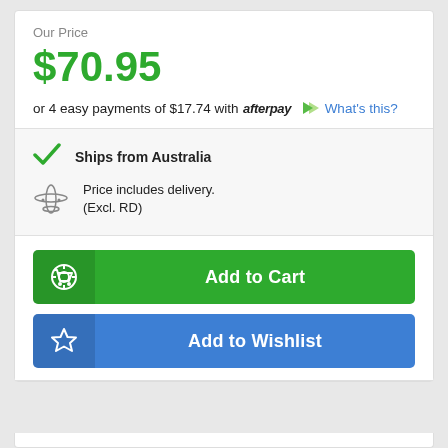Our Price
$70.95
or 4 easy payments of $17.74 with afterpay What's this?
Ships from Australia
Price includes delivery. (Excl. RD)
Add to Cart
Add to Wishlist